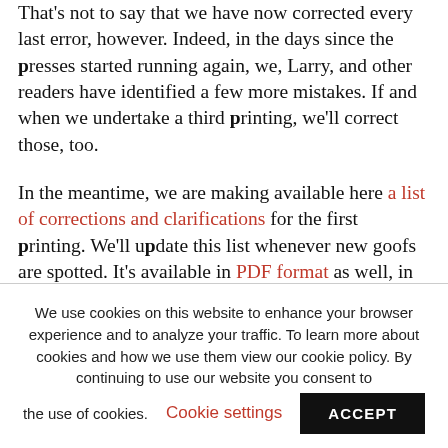That's not to say that we have now corrected every last error, however. Indeed, in the days since the presses started running again, we, Larry, and other readers have identified a few more mistakes. If and when we undertake a third printing, we'll correct those, too.

In the meantime, we are making available here a list of corrections and clarifications for the first printing. We'll update this list whenever new goofs are spotted. It's available in PDF format as well, in case you want to print it out or have a handy searchable
We use cookies on this website to enhance your browser experience and to analyze your traffic. To learn more about cookies and how we use them view our cookie policy. By continuing to use our website you consent to the use of cookies.